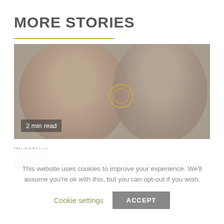MORE STORIES
[Figure (photo): Two men (royals) photographed together, faded/muted tones. Circular play icon overlay in center. A '2 min read' badge in bottom-left corner.]
2 min read
World News
Women filmed crashing e-scooter after
This website uses cookies to improve your experience. We'll assume you're ok with this, but you can opt-out if you wish.
Cookie settings   ACCEPT